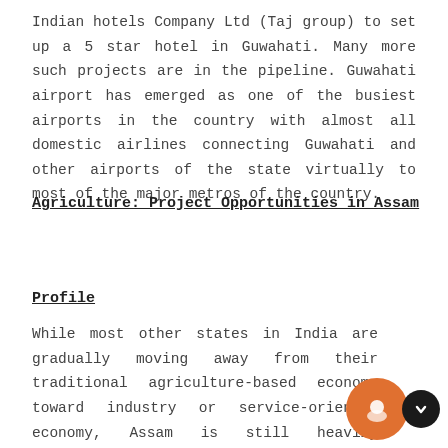Indian hotels Company Ltd (Taj group) to set up a 5 star hotel in Guwahati. Many more such projects are in the pipeline. Guwahati airport has emerged as one of the busiest airports in the country with almost all domestic airlines connecting Guwahati and other airports of the state virtually to most of the major metros of the country.
Agriculture: Project Opportunities in Assam
Profile
While most other states in India are gradually moving away from their traditional agriculture-based economy toward industry or service-oriented economy, Assam is still heavily dependent on agricultural sector. Today, India ranks second worldwide in output. Agriculture and allied sectors like forestry and fisheries